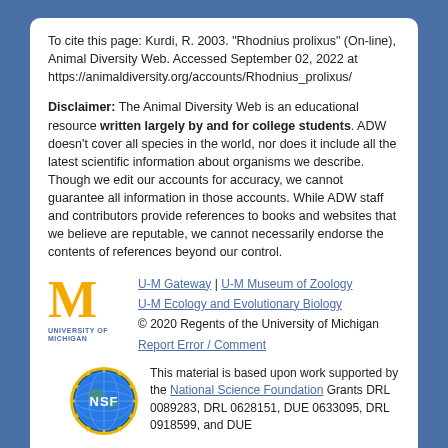To cite this page: Kurdi, R. 2003. "Rhodnius prolixus" (On-line), Animal Diversity Web. Accessed September 02, 2022 at https://animaldiversity.org/accounts/Rhodnius_prolixus/
Disclaimer: The Animal Diversity Web is an educational resource written largely by and for college students. ADW doesn't cover all species in the world, nor does it include all the latest scientific information about organisms we describe. Though we edit our accounts for accuracy, we cannot guarantee all information in those accounts. While ADW staff and contributors provide references to books and websites that we believe are reputable, we cannot necessarily endorse the contents of references beyond our control.
[Figure (logo): University of Michigan block M logo in gold/yellow with 'UNIVERSITY OF MICHIGAN' text below in blue]
U-M Gateway | U-M Museum of Zoology
U-M Ecology and Evolutionary Biology
© 2020 Regents of the University of Michigan
Report Error / Comment
[Figure (logo): NSF (National Science Foundation) circular logo with globe and gold sunburst border]
This material is based upon work supported by the National Science Foundation Grants DRL 0089283, DRL 0628151, DUE 0633095, DRL 0918599, and DUE